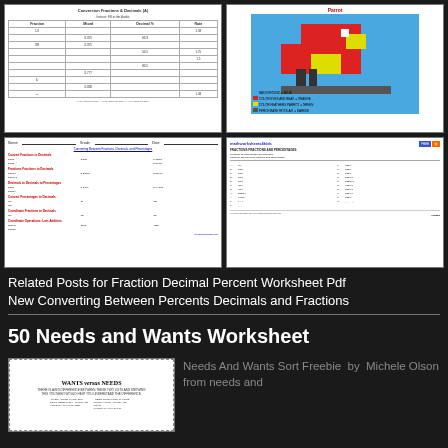[Figure (screenshot): Top row of thumbnail worksheet images: left shows Conversion Fractions and Decimals worksheet (A); right shows a pixel art parrot coloring grid]
[Figure (screenshot): Middle row of thumbnail worksheet images: left shows Converting Between Fractions Decimals and Percentages worksheet with name/grade fields; right shows mathworksheets4kids.com Fractions Fractions and Percentages worksheet]
Related Posts for Fraction Decimal Percent Worksheet Pdf New Converting Between Percents Decimals and Fractions
50 Needs and Wants Worksheet
[Figure (screenshot): Thumbnail of Wants Versus Needs worksheet with decorative border and two-column layout]
Needs And Wants Sort Freebie by Michele Olson from needs and